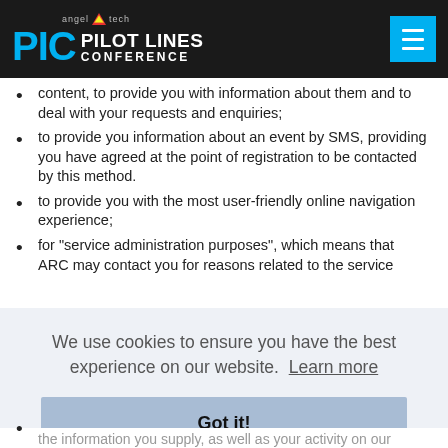angel tech PILOT LINES CONFERENCE
content, to provide you with information about them and to deal with your requests and enquiries;
to provide you information about an event by SMS, providing you have agreed at the point of registration to be contacted by this method.
to provide you with the most user-friendly online navigation experience;
for "service administration purposes", which means that ARC may contact you for reasons related to the service
We use cookies to ensure you have the best experience on our website.  Learn more
Got it!
the information you supply, as well as your activity on our